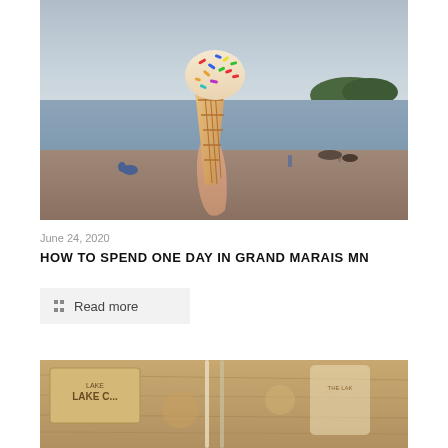[Figure (photo): Hand holding a waffle ice cream cone with sprinkles in front of a lake beach scene with people in the background]
June 24, 2020
HOW TO SPEND ONE DAY IN GRAND MARAIS MN
Read more
[Figure (photo): Partial photo showing Lake Cook related items on a wooden table, warm toned]